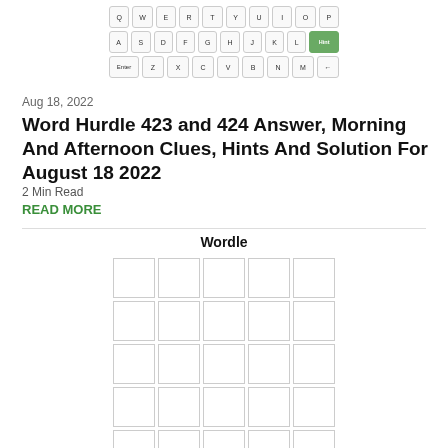[Figure (screenshot): Partial screenshot of a word game keyboard with Q W E R T Y U I O P row, A S D F G H J K L row with 'Hint' key highlighted green, and Enter Z X C V B N M row]
Aug 18, 2022
Word Hurdle 423 and 424 Answer, Morning And Afternoon Clues, Hints And Solution For August 18 2022
2 Min Read
READ MORE
[Figure (screenshot): Wordle game interface showing a 6x5 empty letter grid and QWERTY keyboard below it with grey keys]
Wordle